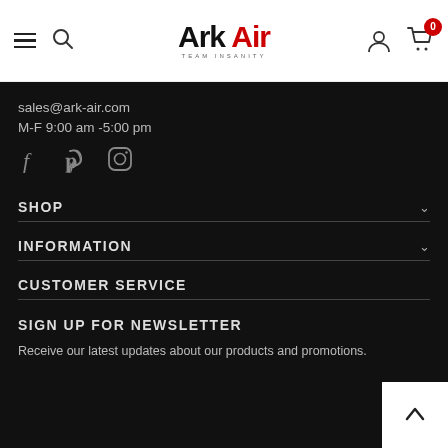Ark Air — header with menu, search, logo, account, cart (0)
sales@ark-air.com
M-F 9:00 am -5:00 pm
[Figure (illustration): Social media icons: Facebook, Pinterest, Instagram]
SHOP
INFORMATION
CUSTOMER SERVICE
SIGN UP FOR NEWSLETTER
Receive our latest updates about our products and promotions.